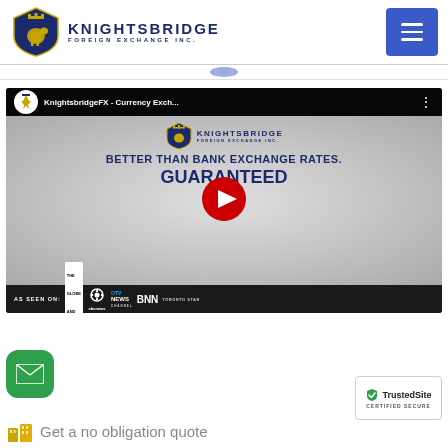Knightsbridge Foreign Exchange Inc.
[Figure (screenshot): YouTube video thumbnail for KnightsbridgeFX - Currency Exchange showing 'BETTER THAN BANK EXCHANGE RATES. GUARANTEED' with Knightsbridge logo and media logos (The Globe and Mail, CBC News, CTV News Channel, BNN, Toronto Star)]
[Figure (logo): TrustedSite Certified Secure badge]
Get a no obligation quote